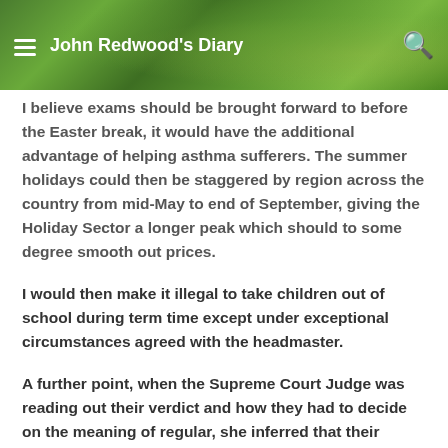John Redwood's Diary
I believe exams should be brought forward to before the Easter break, it would have the additional advantage of helping asthma sufferers. The summer holidays could then be staggered by region across the country from mid-May to end of September, giving the Holiday Sector a longer peak which should to some degree smooth out prices.
I would then make it illegal to take children out of school during term time except under exceptional circumstances agreed with the headmaster.
A further point, when the Supreme Court Judge was reading out their verdict and how they had to decide on the meaning of regular, she inferred that their decision was influenced by the chaos which would ensue in the classroom if children were